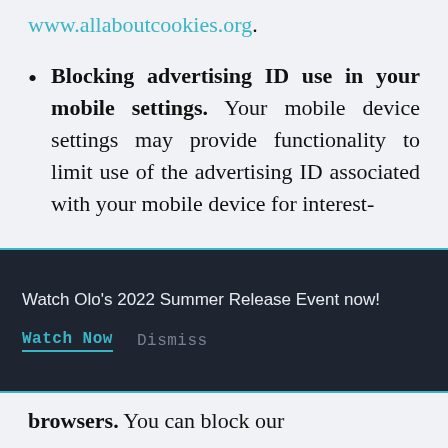www.allaboutcookies.org.
Blocking advertising ID use in your mobile settings. Your mobile device settings may provide functionality to limit use of the advertising ID associated with your mobile device for interest-
Watch Olo’s 2022 Summer Release Event now! Watch Now  Dismiss
browsers. You can block our